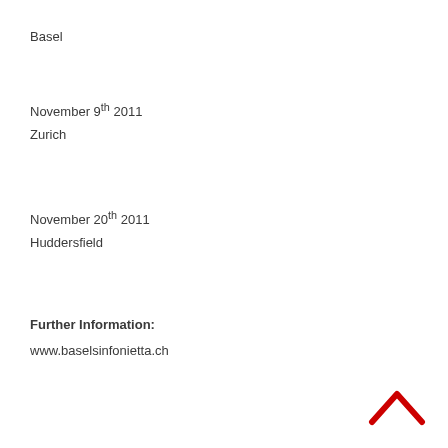Basel
November 9th 2011
Zurich
November 20th 2011
Huddersfield
Further Information:
www.baselsinfonietta.ch
[Figure (other): Red upward-pointing chevron arrow icon]